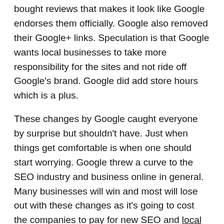bought reviews that makes it look like Google endorses them officially. Google also removed their Google+ links. Speculation is that Google wants local businesses to take more responsibility for the sites and not ride off Google's brand. Google did add store hours which is a plus.
These changes by Google caught everyone by surprise but shouldn't have. Just when things get comfortable is when one should start worrying. Google threw a curve to the SEO industry and business online in general. Many businesses will win and most will lose out with these changes as it's going to cost the companies to pay for new SEO and local SEO repair and engineering. The SEO companies are going to have to start all over again with clients' sites and blogs and hope that by the time they get done, Google won't change the game again.
What we're seeing here is that Google isn't done with